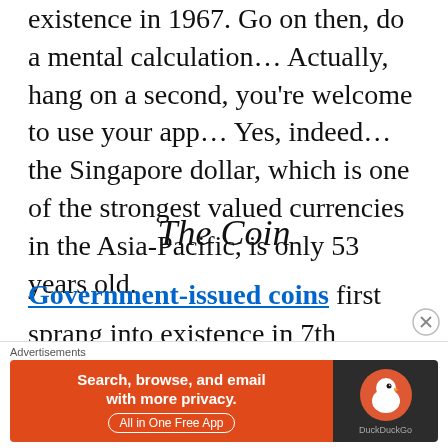existence in 1967. Go on then, do a mental calculation… Actually, hang on a second, you're welcome to use your app… Yes, indeed… the Singapore dollar, which is one of the strongest valued currencies in the Asia-Pacific, is only 53 years old.
The Coin
Government-issued coins first sprang into existence in 7th century BC in Lydia, modern-day Turkey. Whilst the genesis story of the origin of coins remains a
[Figure (screenshot): DuckDuckGo advertisement banner: orange section with text 'Search, browse, and email with more privacy. All in One Free App' and dark section with DuckDuckGo logo]